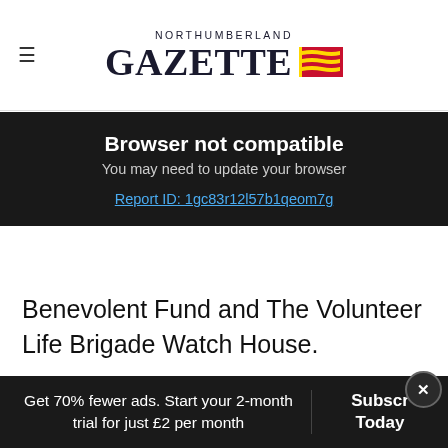NORTHUMBERLAND GAZETTE
Browser not compatible
You may need to update your browser
Report ID: 1gc83r12l57b1qeom7g
Benevolent Fund and The Volunteer Life Brigade Watch House.
"Last year we presented each of our three hosts with a cheque for £250 each from money we raised during our ride.
Get 70% fewer ads. Start your 2-month trial for just £2 per month  Subscr Today